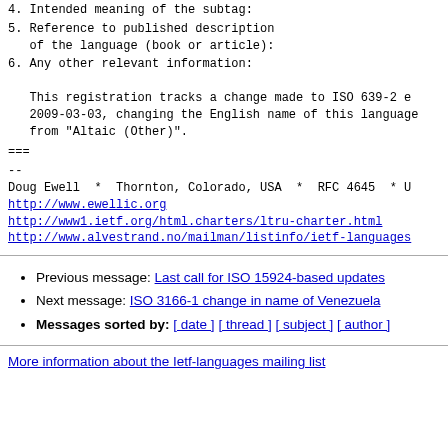4. Intended meaning of the subtag:
5. Reference to published description of the language (book or article):
6. Any other relevant information:

This registration tracks a change made to ISO 639-2 effective 2009-03-03, changing the English name of this language from "Altaic (Other)".
===
--
Doug Ewell  *  Thornton, Colorado, USA  *  RFC 4645  * U
http://www.ewellic.org
http://www1.ietf.org/html.charters/ltru-charter.html
http://www.alvestrand.no/mailman/listinfo/ietf-languages
Previous message: Last call for ISO 15924-based updates
Next message: ISO 3166-1 change in name of Venezuela
Messages sorted by: [ date ] [ thread ] [ subject ] [ author ]
More information about the Ietf-languages mailing list